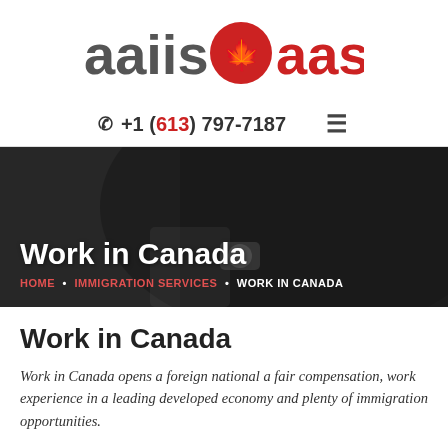[Figure (logo): AAIIS AASII logo with red maple leaf in a circle between the two words, red and grey text]
☎ +1 (613) 797-7187  ≡
[Figure (photo): Hero banner showing a person in a dark suit with a watch, dark overlay, title 'Work in Canada' and breadcrumb: HOME • IMMIGRATION SERVICES • WORK IN CANADA]
Work in Canada
Work in Canada opens a foreign national a fair compensation, work experience in a leading developed economy and plenty of immigration opportunities.